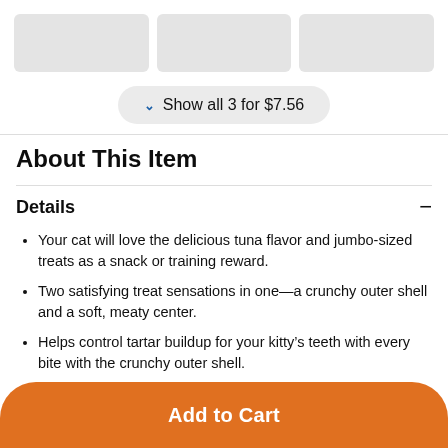[Figure (other): Three gray placeholder image thumbnails in a row]
Show all 3 for $7.56
About This Item
Details
Your cat will love the delicious tuna flavor and jumbo-sized treats as a snack or training reward.
Two satisfying treat sensations in one—a crunchy outer shell and a soft, meaty center.
Helps control tartar buildup for your kitty's teeth with every bite with the crunchy outer shell.
Low calorie treats can be part of a nutritionally
Add to Cart